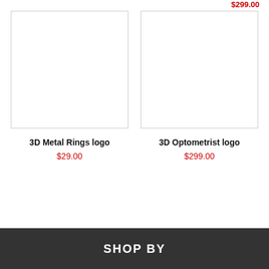$299.00
[Figure (photo): White blank product image placeholder for 3D Metal Rings logo]
3D Metal Rings logo
$29.00
[Figure (photo): White blank product image placeholder for 3D Optometrist logo]
3D Optometrist logo
$299.00
SHOP BY